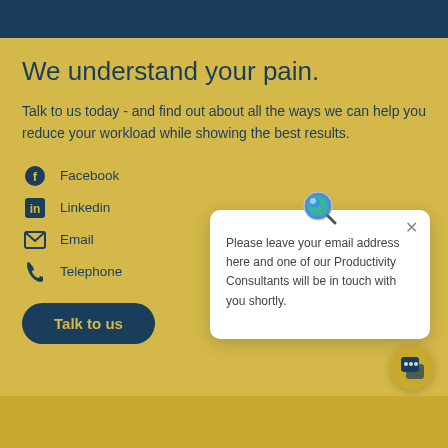We understand your pain.
Talk to us today - and find out about all the ways we can help you reduce your workload while showing the best results.
Facebook
Linkedin
Email
Telephone
Talk to us
[Figure (screenshot): Popup dialog with globe/magnifier icon and close button, containing text: Please leave your email address here and one of our Productivity Consultants will be in touch with you shortly.]
[Figure (illustration): Chat bubble icon button in bottom right corner]